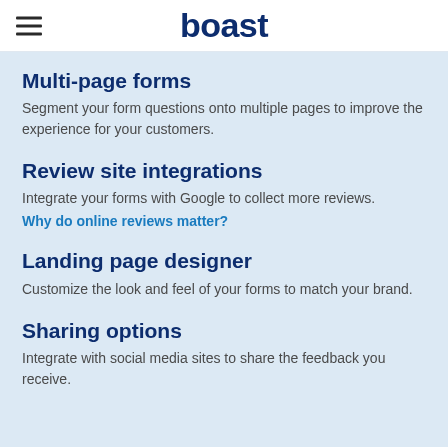boast
Multi-page forms
Segment your form questions onto multiple pages to improve the experience for your customers.
Review site integrations
Integrate your forms with Google to collect more reviews.
Why do online reviews matter?
Landing page designer
Customize the look and feel of your forms to match your brand.
Sharing options
Integrate with social media sites to share the feedback you receive.